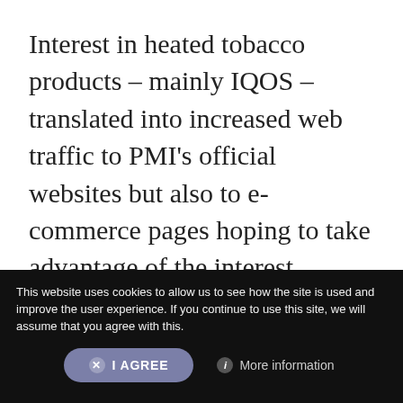Interest in heated tobacco products – mainly IQOS – translated into increased web traffic to PMI's official websites but also to e-commerce pages hoping to take advantage of the interest generated by the Big Tobacco companies.
In recent months, companies such as PMI and BAT have placed growth in their heated tobacco products high on their agenda, a sure sign of the popularity these new
This website uses cookies to allow us to see how the site is used and improve the user experience. If you continue to use this site, we will assume that you agree with this.